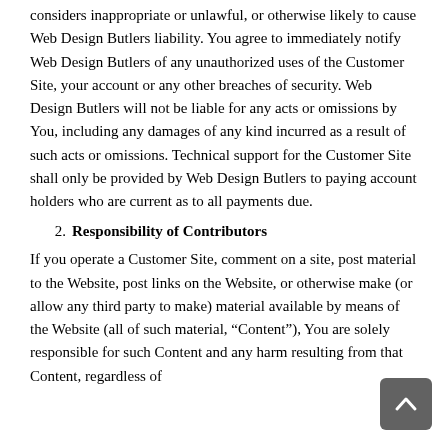considers inappropriate or unlawful, or otherwise likely to cause Web Design Butlers liability. You agree to immediately notify Web Design Butlers of any unauthorized uses of the Customer Site, your account or any other breaches of security. Web Design Butlers will not be liable for any acts or omissions by You, including any damages of any kind incurred as a result of such acts or omissions. Technical support for the Customer Site shall only be provided by Web Design Butlers to paying account holders who are current as to all payments due.
2. Responsibility of Contributors
If you operate a Customer Site, comment on a site, post material to the Website, post links on the Website, or otherwise make (or allow any third party to make) material available by means of the Website (all of such material, “Content”), You are solely responsible for such Content and any harm resulting from that Content, regardless of